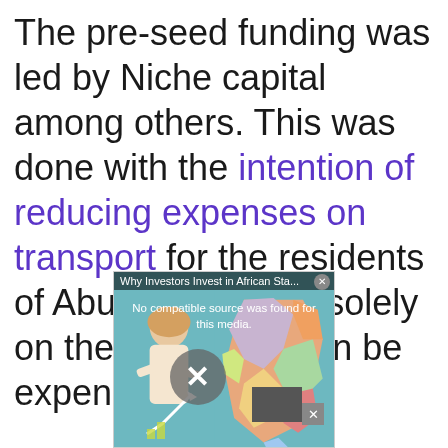The pre-seed funding was led by Niche capital among others. This was done with the intention of reducing expenses on transport for the residents of Abuja who relies solely on the cup which can be expensive.
[Figure (screenshot): Embedded video player overlay showing 'Why Investors Invest in African Sta...' with a no-compatible-source message, a woman in the foreground, an Africa map in background, and an X close button.]